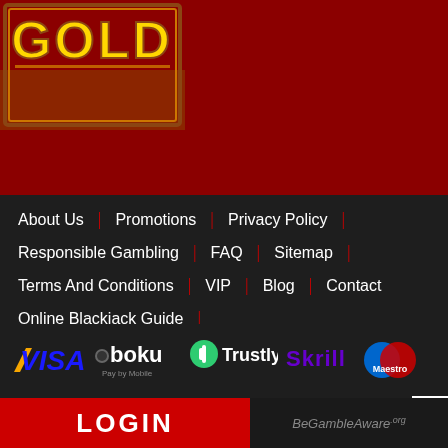[Figure (logo): Gold logo with orange/yellow text on dark red background with desert scene]
About Us | Promotions | Privacy Policy |
Responsible Gambling | FAQ | Sitemap |
Terms And Conditions | VIP | Blog | Contact
Online Blackjack Guide |
Guide To Play Online Scratch Cards |
Online Roulette Guide | Online Baccarat |
Online Slots Information | Pay By Mobile Casino |
[Figure (logo): Payment method logos: VISA, boku Pay by Mobile, Trustly, Skrill, Maestro]
LOGIN
BeGambleAware